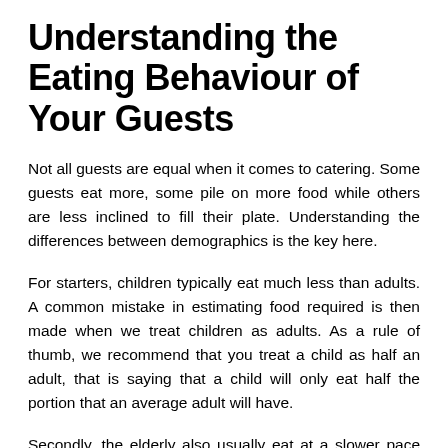Understanding the Eating Behaviour of Your Guests
Not all guests are equal when it comes to catering. Some guests eat more, some pile on more food while others are less inclined to fill their plate. Understanding the differences between demographics is the key here.
For starters, children typically eat much less than adults. A common mistake in estimating food required is then made when we treat children as adults. As a rule of thumb, we recommend that you treat a child as half an adult, that is saying that a child will only eat half the portion that an average adult will have.
Secondly, the elderly also usually eat at a slower pace while taking less on their plate per round. Effectively,